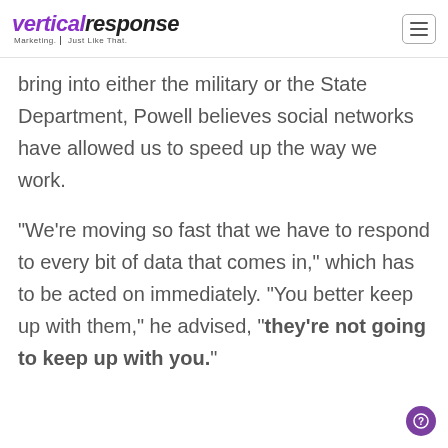VerticalResponse Marketing. Just Like That.
bring into either the military or the State Department, Powell believes social networks have allowed us to speed up the way we work.

“We’re moving so fast that we have to respond to every bit of data that comes in,” which has to be acted on immediately. “You better keep up with them,” he advised, “they’re not going to keep up with you.”